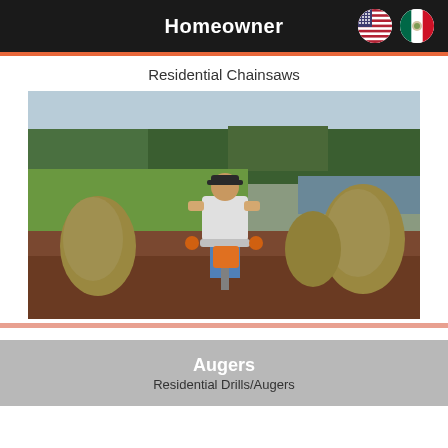Homeowner
Residential Chainsaws
[Figure (photo): Person operating a gas-powered auger/drill on a mulched outdoor area, trees and green lawn in background]
Augers
Residential Drills/Augers